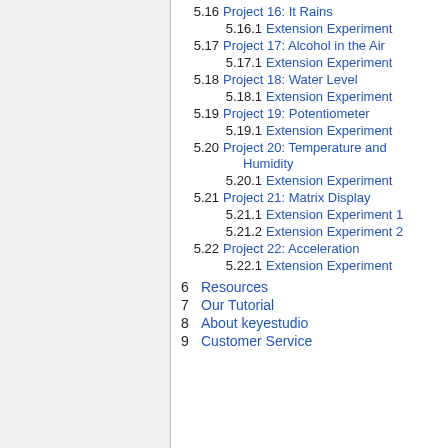5.16  Project 16: It Rains
5.16.1  Extension Experiment
5.17  Project 17: Alcohol in the Air
5.17.1  Extension Experiment
5.18  Project 18: Water Level
5.18.1  Extension Experiment
5.19  Project 19: Potentiometer
5.19.1  Extension Experiment
5.20  Project 20: Temperature and Humidity
5.20.1  Extension Experiment
5.21  Project 21: Matrix Display
5.21.1  Extension Experiment 1
5.21.2  Extension Experiment 2
5.22  Project 22: Acceleration
5.22.1  Extension Experiment
6  Resources
7  Our Tutorial
8  About keyestudio
9  Customer Service